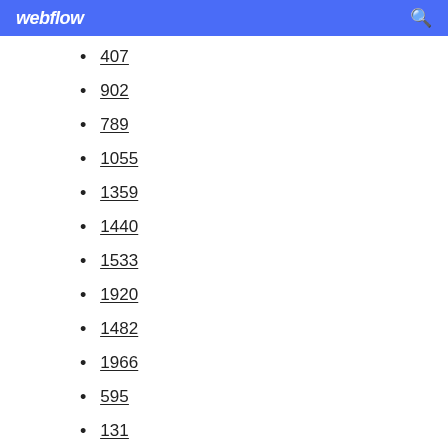webflow
407
902
789
1055
1359
1440
1533
1920
1482
1966
595
131